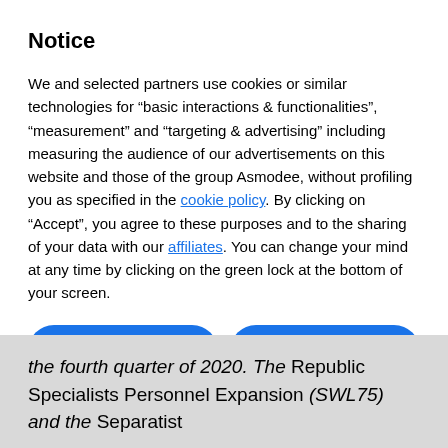Notice
We and selected partners use cookies or similar technologies for “basic interactions & functionalities”, “measurement” and “targeting & advertising” including measuring the audience of our advertisements on this website and those of the group Asmodee, without profiling you as specified in the cookie policy. By clicking on "Accept", you agree to these purposes and to the sharing of your data with our affiliates. You can change your mind at any time by clicking on the green lock at the bottom of your screen.
Reject
Accept
Learn more and customize
the fourth quarter of 2020. The Republic Specialists Personnel Expansion (SWL75) and the Separatist